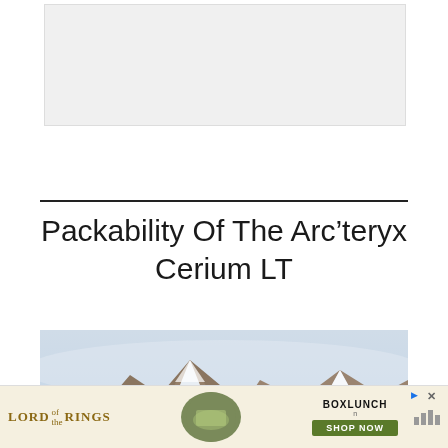[Figure (other): Top advertisement banner placeholder, light grey rectangle]
Packability Of The Arc’teryx Cerium LT
[Figure (photo): Snow-capped rocky mountain peaks under a hazy blue-grey sky, wide landscape photo]
[Figure (other): Bottom advertisement banner: Lord of the Rings × BoxLunch promotional ad with shop now button]